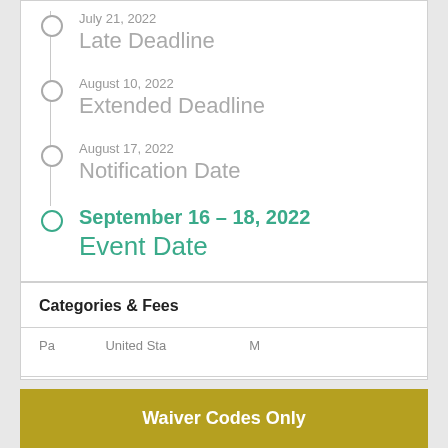July 21, 2022 — Late Deadline
August 10, 2022 — Extended Deadline
August 17, 2022 — Notification Date
September 16 – 18, 2022 — Event Date
Categories & Fees
Waiver Codes Only